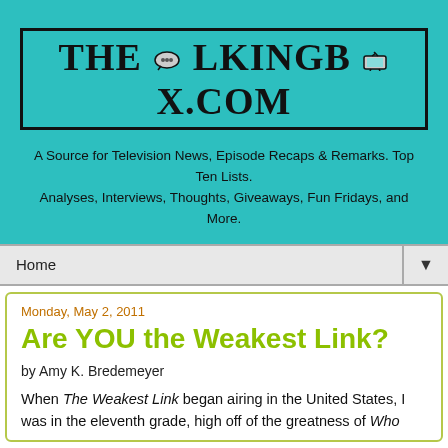[Figure (logo): TheTalkingBox.com logo with decorative serif font, speech bubble and TV icons embedded in the text, outlined border]
A Source for Television News, Episode Recaps & Remarks. Top Ten Lists.
Analyses, Interviews, Thoughts, Giveaways, Fun Fridays, and More.
Home ▼
Monday, May 2, 2011
Are YOU the Weakest Link?
by Amy K. Bredemeyer
When The Weakest Link began airing in the United States, I was in the eleventh grade, high off of the greatness of Who